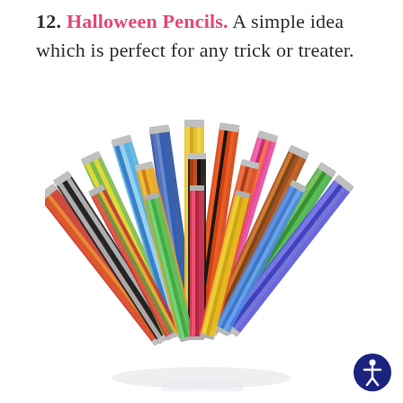12. Halloween Pencils. A simple idea which is perfect for any trick or treater.
[Figure (photo): A fan-shaped arrangement of many bundled packs of colorful Halloween pencils spread out in a wide arc, with pencil tips pointing downward and erasers at the top, showing various patterns including zebra, animal print, rainbow, and Halloween-themed designs.]